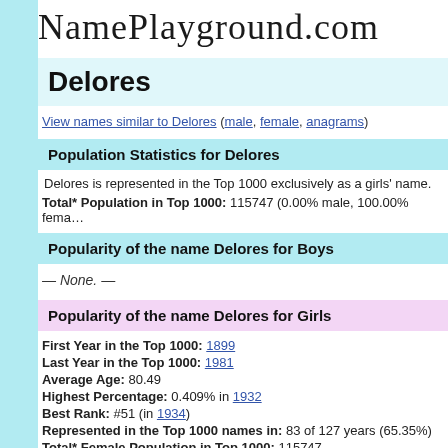NamePlayground.com
Delores
View names similar to Delores (male, female, anagrams)
Population Statistics for Delores
Delores is represented in the Top 1000 exclusively as a girls' name.
Total* Population in Top 1000: 115747 (0.00% male, 100.00% female)
Popularity of the name Delores for Boys
— None. —
Popularity of the name Delores for Girls
First Year in the Top 1000: 1899
Last Year in the Top 1000: 1981
Average Age: 80.49
Highest Percentage: 0.409% in 1932
Best Rank: #51 (in 1934)
Represented in the Top 1000 names in: 83 of 127 years (65.35%)
Total* Female Population in Top 1000: 115747